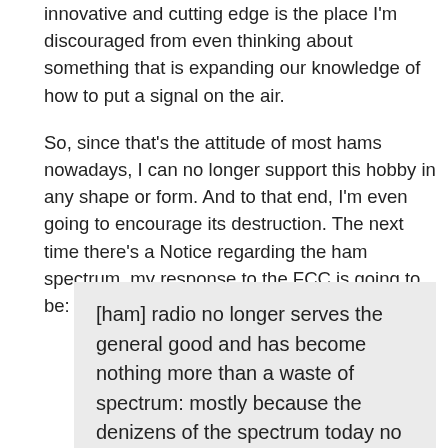innovative and cutting edge is the place I'm discouraged from even thinking about something that is expanding our knowledge of how to put a signal on the air.
So, since that’s the attitude of most hams nowadays, I can no longer support this hobby in any shape or form. And to that end, I’m even going to encourage its destruction. The next time there’s a Notice regarding the ham spectrum, my response to the FCC is going to be:
[ham] radio no longer serves the general good and has become nothing more than a waste of spectrum: mostly because the denizens of the spectrum today no longer encourage active experimentation and expanding of the radio art and instead discourage